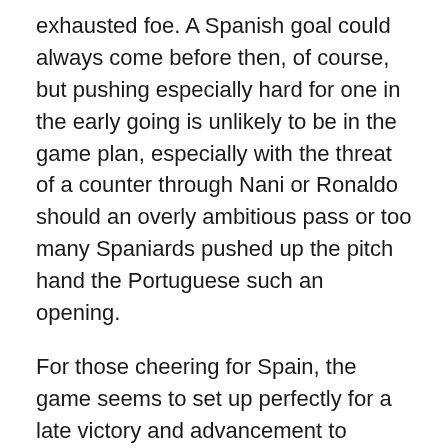exhausted foe. A Spanish goal could always come before then, of course, but pushing especially hard for one in the early going is unlikely to be in the game plan, especially with the threat of a counter through Nani or Ronaldo should an overly ambitious pass or too many Spaniards pushed up the pitch hand the Portuguese such an opening.
For those cheering for Spain, the game seems to set up perfectly for a late victory and advancement to Sunday's final. For everybody else, unless the Portuguese score early it could seem a very long ninety minutes.
[Figure (other): liverpool blog fc sbn image placeholder]
Correction: Soccernet's match listing suggested that